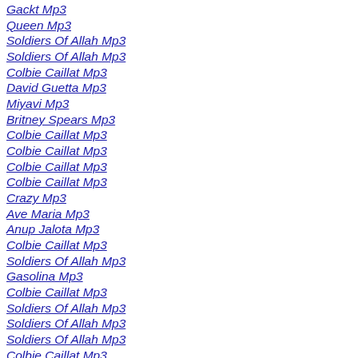Gackt Mp3
Queen Mp3
Soldiers Of Allah Mp3
Soldiers Of Allah Mp3
Colbie Caillat Mp3
David Guetta Mp3
Miyavi Mp3
Britney Spears Mp3
Colbie Caillat Mp3
Colbie Caillat Mp3
Colbie Caillat Mp3
Colbie Caillat Mp3
Crazy Mp3
Ave Maria Mp3
Anup Jalota Mp3
Colbie Caillat Mp3
Soldiers Of Allah Mp3
Gasolina Mp3
Colbie Caillat Mp3
Soldiers Of Allah Mp3
Soldiers Of Allah Mp3
Soldiers Of Allah Mp3
Colbie Caillat Mp3
Soldiers Of Allah Mp3
Colbie Caillat Mp3